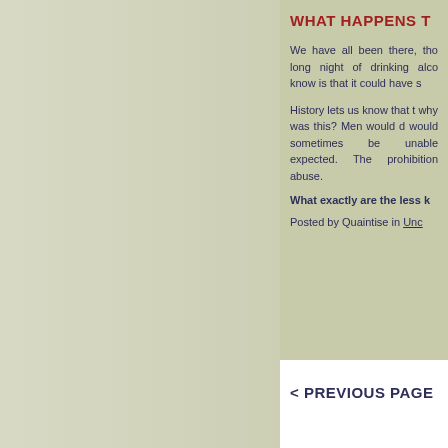WHAT HAPPENS T
We have all been there, though long night of drinking alcoho know is that it could have s
History lets us know that th why was this? Men would dr would sometimes be unable expected. The prohibition w abuse.
What exactly are the less kn
Posted by Quaintise in Unca
< PREVIOUS PAGE